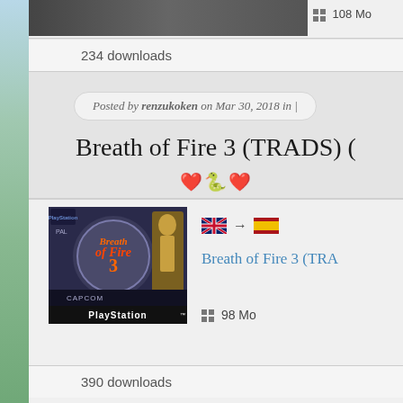108 Mo
234 downloads
Posted by renzukoken on Mar 30, 2018 in |
Breath of Fire 3 (TRADS) (
[Figure (photo): PlayStation game cover for Breath of Fire 3 by Capcom, showing the game logo with a dragon and a golden figure, with the PlayStation logo bar at the bottom]
🇬🇧 → 🇪🇸
Breath of Fire 3 (TRA
98 Mo
390 downloads